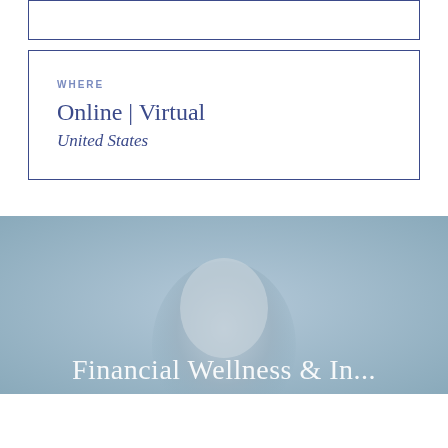WHERE
Online | Virtual
United States
[Figure (photo): Blurred/soft-focus image of a person's head and shoulders against a light blue background, with partial text 'Financial Wellness & ...' overlaid at the bottom]